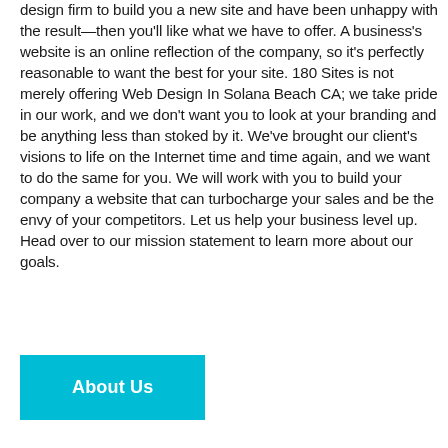design firm to build you a new site and have been unhappy with the result—then you'll like what we have to offer. A business's website is an online reflection of the company, so it's perfectly reasonable to want the best for your site. 180 Sites is not merely offering Web Design In Solana Beach CA; we take pride in our work, and we don't want you to look at your branding and be anything less than stoked by it. We've brought our client's visions to life on the Internet time and time again, and we want to do the same for you. We will work with you to build your company a website that can turbocharge your sales and be the envy of your competitors. Let us help your business level up. Head over to our mission statement to learn more about our goals.
About Us